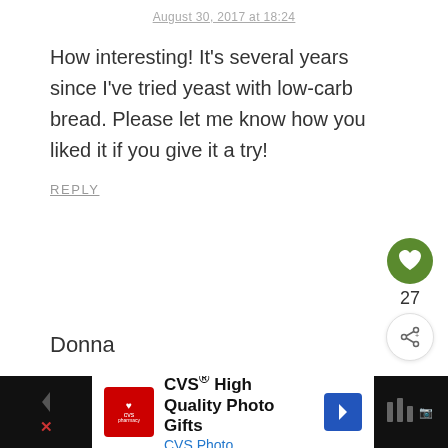August 30, 2017 at 18:24
How interesting! It's several years since I've tried yeast with low-carb bread. Please let me know how you liked it if you give it a try!
REPLY
[Figure (illustration): Green circular like/heart button with white heart icon, count of 27, and share button below]
Donna
[Figure (screenshot): CVS High Quality Photo Gifts advertisement banner with CVS pharmacy logo, navigation arrows, and right-side icons]